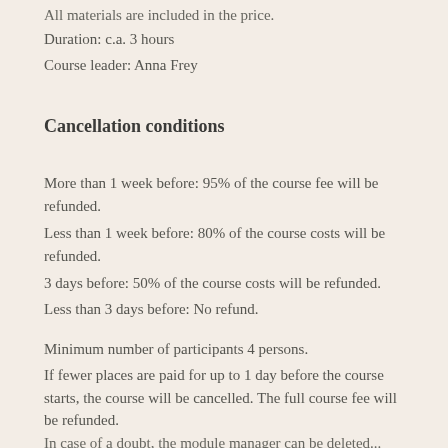All materials are included in the price.
Duration: c.a. 3 hours
Course leader: Anna Frey
Cancellation conditions
More than 1 week before: 95% of the course fee will be refunded.
Less than 1 week before: 80% of the course costs will be refunded.
3 days before: 50% of the course costs will be refunded.
Less than 3 days before: No refund.
Minimum number of participants 4 persons.
If fewer places are paid for up to 1 day before the course starts, the course will be cancelled. The full course fee will be refunded.
In case of a doubt, the module manager can be deleted...